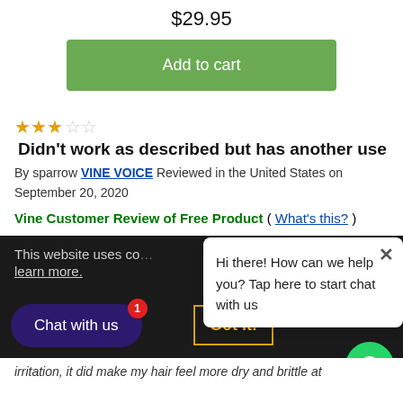$29.95
Add to cart
Didn't work as described but has another use
By sparrow VINE VOICE Reviewed in the United States on September 20, 2020
Vine Customer Review of Free Product ( What's this? )
This website uses co... learn more.
Hi there! How can we help you? Tap here to start chat with us
Chat with us
Got it!
irritation, it did make my hair feel more dry and brittle at